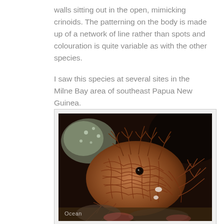walls sitting out in the open, mimicking crinoids. The patterning on the body is made up of a network of line rather than spots and colouration is quite variable as with the other species.

I saw this species at several sites in the Milne Bay area of southeast Papua New Guinea.
[Figure (photo): Close-up underwater photograph of a frogfish (likely Antennarius or similar species) with intricate brown network line patterning on its body, sitting among coral reef. The creature mimics crinoids with branching appendages. Photo watermarked with 'Ocean' in bottom left corner.]